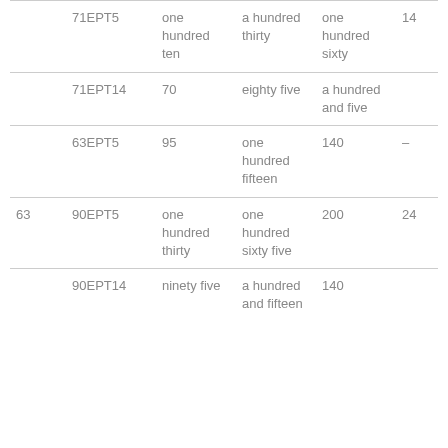|  | 71EPT5 | one hundred ten | a hundred thirty | one hundred sixty | 14 |
|  | 71EPT14 | 70 | eighty five | a hundred and five |  |
|  | 63EPT5 | 95 | one hundred fifteen | 140 | – |
| 63 | 90EPT5 | one hundred thirty | one hundred sixty five | 200 | 24 |
|  | 90EPT14 | ninety five | a hundred and fifteen | 140 |  |